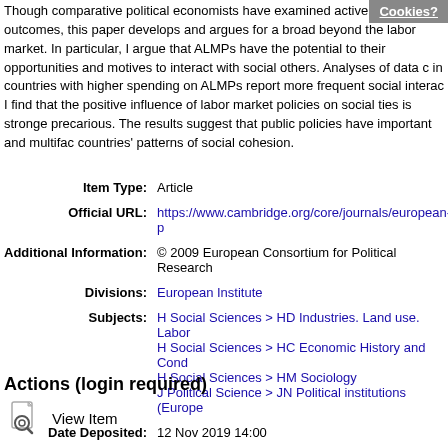Though comparative political economists have examined active economic outcomes, this paper develops and argues for a broad beyond the labor market. In particular, I argue that ALMPs have the potential to their opportunities and motives to interact with social others. Analyses of data c in countries with higher spending on ALMPs report more frequent social interac I find that the positive influence of labor market policies on social ties is stronge precarious. The results suggest that public policies have important and multifac countries' patterns of social cohesion.
| Label | Value |
| --- | --- |
| Item Type: | Article |
| Official URL: | https://www.cambridge.org/core/journals/european-p |
| Additional Information: | © 2009 European Consortium for Political Research |
| Divisions: | European Institute |
| Subjects: | H Social Sciences > HD Industries. Land use. Labor
H Social Sciences > HC Economic History and Cond
H Social Sciences > HM Sociology
J Political Science > JN Political institutions (Europe |
| Date Deposited: | 12 Nov 2019 14:00 |
| Last Modified: | 20 Sep 2021 00:36 |
| URI: | http://eprints.lse.ac.uk/id/eprint/102513 |
Actions (login required)
View Item